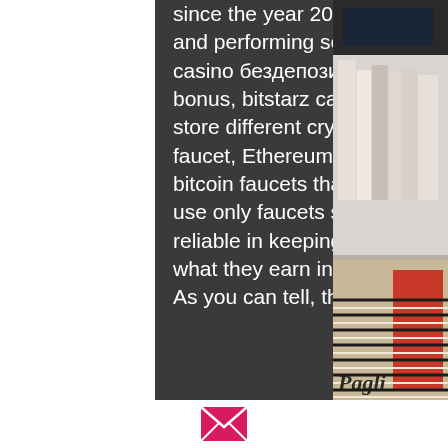since the year 2013 and has gained the trust of people. By watching video ads and performing several other activities, you can earn a lot of satoshis, bitstarz casino бездепозитный бонус codes 2021. You can earn up to 100% daily claim bonus, bitstarz casino tips. The Payment is instant to Faucet Hub. You can store different cryptocurrencies in these wallets like crypto earned from Litecoin faucet, Ethereum faucet, doge faucet, and so on. Although there are many best bitcoin faucets that are not supported by these wallets it is a good practice to use only faucets supported by these two wallets as they are more secure and reliable in keeping your earnings safe, bitstarz casino tips. And, get 25% of what they earn in interest, bitstarz casino бездепозитный бонус codes 2021. As you can tell, the passive aspect of
[Figure (photo): Partial view of book spines on a shelf, with decorative striped pattern visible at bottom right. Text 'Pagli' visible in stylized script.]